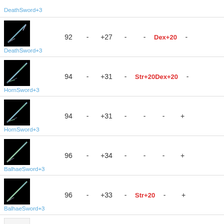| Item | Val1 | - | Val2 | - | Bonus1 | Bonus2 | Extra |
| --- | --- | --- | --- | --- | --- | --- | --- |
| DeathSword+3 | 92 | - | +27 | - | - | Dex+20 | - |
| HornSword+3 | 94 | - | +31 | - | Str+20 | Dex+20 | - |
| HornSword+3 | 94 | - | +31 | - | - | - | + |
| BalhaeSword+3 | 96 | - | +34 | - | - | - | + |
| BalhaeSword+3 | 96 | - | +33 | - | Str+20 | - | + |
| KarcassFist+3 | 68 | - | +21 | - | Str+20 | - | - |